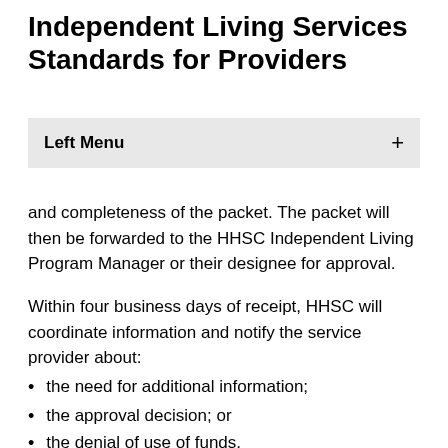Independent Living Services Standards for Providers
Left Menu +
and completeness of the packet. The packet will then be forwarded to the HHSC Independent Living Program Manager or their designee for approval.
Within four business days of receipt, HHSC will coordinate information and notify the service provider about:
the need for additional information;
the approval decision; or
the denial of use of funds.